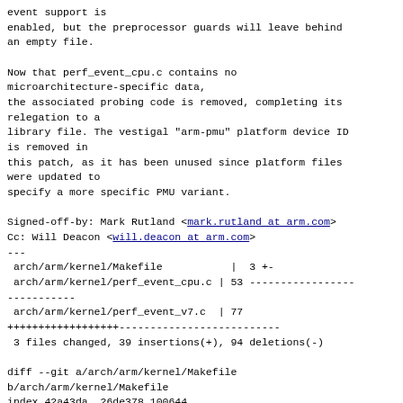event support is
enabled, but the preprocessor guards will leave behind
an empty file.

Now that perf_event_cpu.c contains no
microarchitecture-specific data,
the associated probing code is removed, completing its
relegation to a
library file. The vestigal "arm-pmu" platform device ID
is removed in
this patch, as it has been unused since platform files
were updated to
specify a more specific PMU variant.

Signed-off-by: Mark Rutland <mark.rutland at arm.com>
Cc: Will Deacon <will.deacon at arm.com>
---
 arch/arm/kernel/Makefile           |  3 +-
 arch/arm/kernel/perf_event_cpu.c | 53 ---------------------------------
 arch/arm/kernel/perf_event_v7.c  | 77
++++++++++++++++++--------------------------
 3 files changed, 39 insertions(+), 94 deletions(-)

diff --git a/arch/arm/kernel/Makefile
b/arch/arm/kernel/Makefile
index 42a43da..26de378 100644
--- a/arch/arm/kernel/Makefile
+++ b/arch/arm/kernel/Makefile
@@ -71,7 +71,8 @@ obj-$(CONFIG_CPU_PJ4B)
+ pj4-erp.c